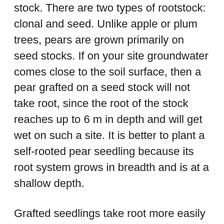stock. There are two types of rootstock: clonal and seed. Unlike apple or plum trees, pears are grown primarily on seed stocks. If on your site groundwater comes close to the soil surface, then a pear grafted on a seed stock will not take root, since the root of the stock reaches up to 6 m in depth and will get wet on such a site. It is better to plant a self-rooted pear seedling because its root system grows in breadth and is at a shallow depth.
Grafted seedlings take root more easily in regions with arid climates.
If you decide to purchase a seedling in a nursery, then choose a plant planted in a pot. Such a pear has a well-developed root system. When planting in a permanent place, the tree will hurt less because the pear is transplanted from the pot along with the earthen lump. In this case, the roots of the tree are